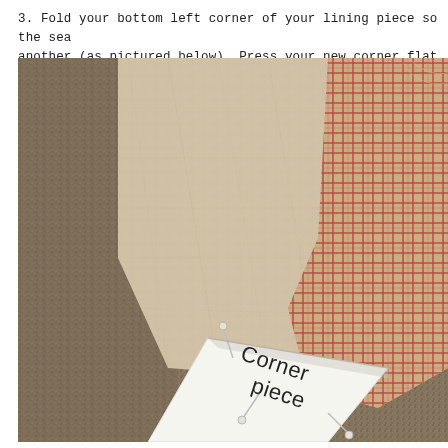3. Fold your bottom left corner of your lining piece so the sea another (as pictured below). Press your new corner flat and pi
[Figure (photo): Close-up photo of fabric sewing project on a textured burlap/carpet background. Shows a light beige linen fabric and red plaid/gingham fabric being folded and pinned at a corner. A white paper label reads 'Corner piece' pinned with sewing pins to the fabric corner.]